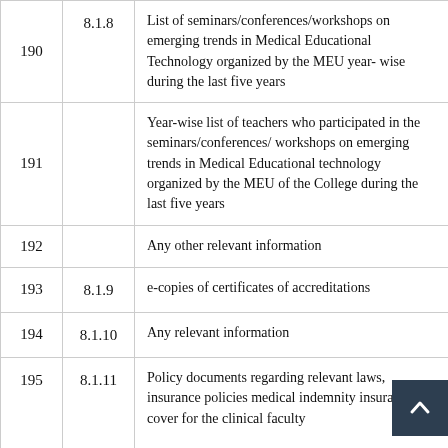|  |  |  |
| --- | --- | --- |
| 190 | 8.1.8 | List of seminars/conferences/workshops on emerging trends in Medical Educational Technology organized by the MEU year- wise during the last five years |
| 191 |  | Year-wise list of teachers who participated in the seminars/conferences/ workshops on emerging trends in Medical Educational technology organized by the MEU of the College during the last five years |
| 192 |  | Any other relevant information |
| 193 | 8.1.9 | e-copies of certificates of accreditations |
| 194 | 8.1.10 | Any relevant information |
| 195 | 8.1.11 | Policy documents regarding relevant laws, insurance policies medical indemnity insurance cover for the clinical faculty... |